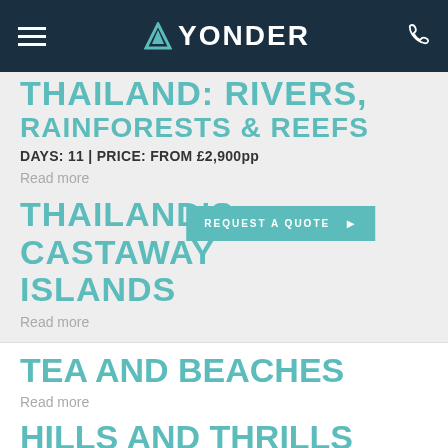YONDER
RAINFORESTS & REEFS
DAYS: 11 | PRICE: FROM £2,900pp
Read more
THAILAND'S CASTAWAY ISLANDS
REQUEST A QUOTE
Read more
TEA AND BEACHES
Read more
HILLS AND THRILLS
Read more
SRI LANKA MEGAMOON
Read more
DAZZLING MALAYS...